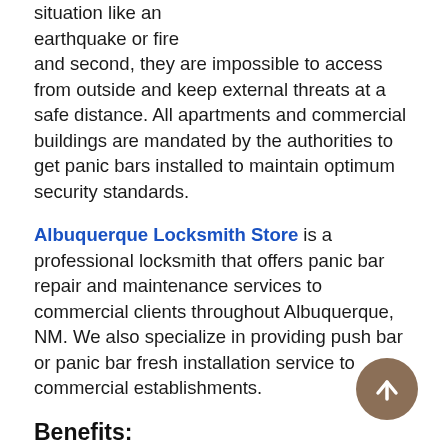situation like an earthquake or fire and second, they are impossible to access from outside and keep external threats at a safe distance. All apartments and commercial buildings are mandated by the authorities to get panic bars installed to maintain optimum security standards.
Albuquerque Locksmith Store is a professional locksmith that offers panic bar repair and maintenance services to commercial clients throughout Albuquerque, NM. We also specialize in providing push bar or panic bar fresh installation service to commercial establishments.
Benefits:
These are an essential component of any large building as they help seal off key exit points from outside, making it impossible for thieves to break into the building. A panic bar is a tube-like structure on the emergency exit door that is easy to open during emergencies like an earthquake. It